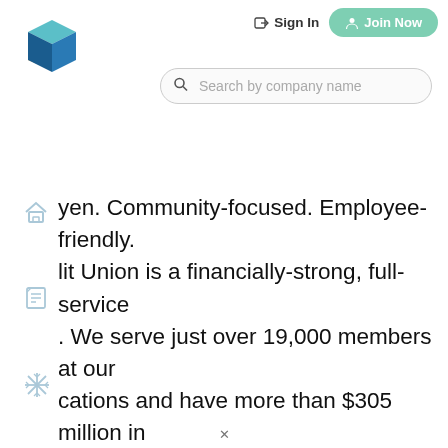[Figure (logo): Colorful geometric 3D cube logo with teal, blue and orange segments]
Sign In | Join Now | Search by company name
yen. Community-focused. Employee-friendly. lit Union is a financially-strong, full-service . We serve just over 19,000 members at our cations and have more than $305 million in e at CCU, our mission is, "Serving our where they are, through all stages of life." With of products, services and branch locations, we do just that. We believe in the cooperative nd "People Helping People." We don't simply or open checking accounts -- we help our chieve their financial goals and improve the quality of life in our communities through education, philanthropy and compassion. We are there for our